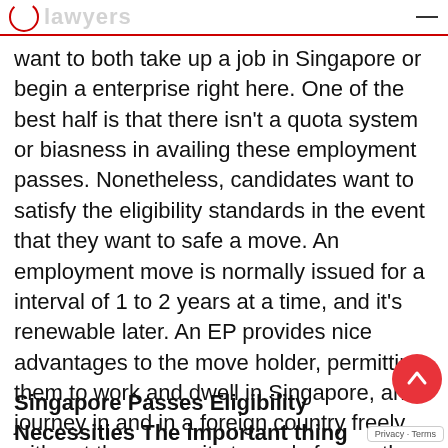lawyers
want to both take up a job in Singapore or begin a enterprise right here. One of the best half is that there isn't a quota system or biasness in availing these employment passes. Nonetheless, candidates want to satisfy the eligibility standards in the event that they want to safe a move. An employment move is normally issued for a interval of 1 to 2 years at a time, and it's renewable later. An EP provides nice advantages to the move holder, permitting them to work and dwell in Singapore, and journey in and in a foreign country freely with out the necessity to apply for another particular visa. Moreover, possessing an EP additionally will increase your possibilities of securing everlasting residence in Singapore.
Singapore Passes Eligibility Necessities The important thing necessities for an employment